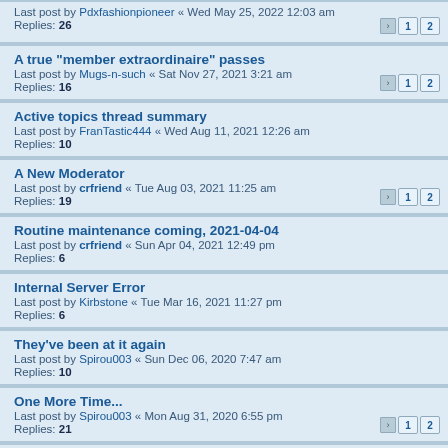Last post by Pdxfashionpioneer « Wed May 25, 2022 12:03 am
Replies: 26
A true "member extraordinaire" passes
Last post by Mugs-n-such « Sat Nov 27, 2021 3:21 am
Replies: 16
Active topics thread summary
Last post by FranTastic444 « Wed Aug 11, 2021 12:26 am
Replies: 10
A New Moderator
Last post by crfriend « Tue Aug 03, 2021 11:25 am
Replies: 19
Routine maintenance coming, 2021-04-04
Last post by crfriend « Sun Apr 04, 2021 12:49 pm
Replies: 6
Internal Server Error
Last post by Kirbstone « Tue Mar 16, 2021 11:27 pm
Replies: 6
They've been at it again
Last post by Spirou003 « Sun Dec 06, 2020 7:47 am
Replies: 10
One More Time...
Last post by Spirou003 « Mon Aug 31, 2020 6:55 pm
Replies: 21
Here we go again...
Last post by Fred in Skirts « Tue Aug 18, 2020 10:20 pm
Replies: 101